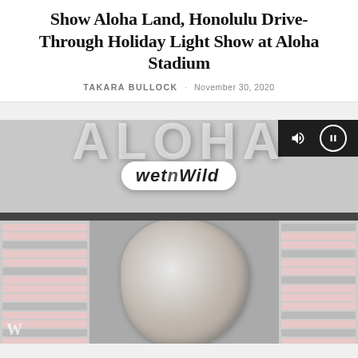Show Aloha Land, Honolulu Drive-Through Holiday Light Show at Aloha Stadium
TAKARA BULLOCK · November 30, 2020
[Figure (photo): Video frame showing Wet n Wild Hawaii sign at top, and below a decorative map/brochure laid on a surface with a large decorative snowflake or coral-like cutout shape on top. Video player controls (volume and pause icons) visible in upper right corner of the video.]